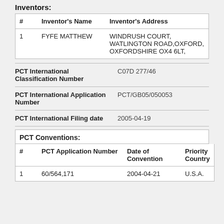Inventors:
| # | Inventor's Name | Inventor's Address |
| --- | --- | --- |
| 1 | FYFE MATTHEW | WINDRUSH COURT, WATLINGTON ROAD,OXFORD, OXFORDSHIRE OX4 6LT, |
| PCT International Classification Number | C07D 277/46 |
| --- | --- |
| PCT International Application Number | PCT/GB05/050053 |
| --- | --- |
| PCT International Filing date | 2005-04-19 |
| --- | --- |
PCT Conventions:
| # | PCT Application Number | Date of Convention | Priority Country |
| --- | --- | --- | --- |
| 1 | 60/564,171 | 2004-04-21 | U.S.A. |